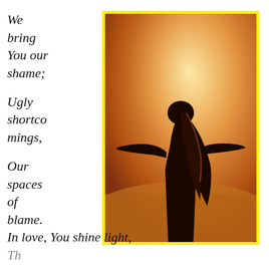We bring You our shame;

Ugly shortcomings,

Our spaces of blame.
[Figure (photo): A woman with long hair seen from behind, arms outstretched, in warm golden-orange sunlight, with a yellow border around the photo.]
In love, You shine light,
Th...